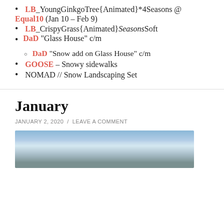LB_YoungGinkgoTree{Animated}*4Seasons @ Equal10 (Jan 10 – Feb 9)
LB_CrispyGrass{Animated}SeasonsSoft
DaD "Glass House" c/m
DaD "Snow add on Glass House" c/m
GOOSE – Snowy sidewalks
NOMAD // Snow Landscaping Set
January
JANUARY 2, 2020 / LEAVE A COMMENT
[Figure (photo): Snow-covered trees with blue sky and a snowy rooftop visible below]